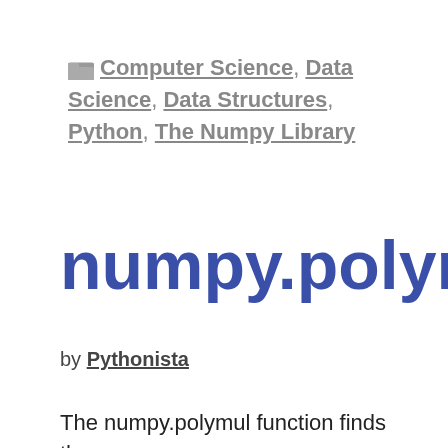Computer Science, Data Science, Data Structures, Python, The Numpy Library
numpy.polymul
by Pythonista
The numpy.polymul function finds the